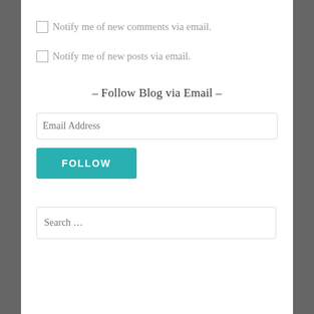Notify me of new comments via email.
Notify me of new posts via email.
- Follow Blog via Email -
Email Address
FOLLOW
Search …